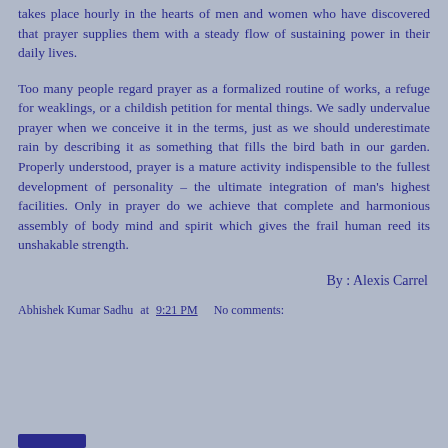takes place hourly in the hearts of men and women who have discovered that prayer supplies them with a steady flow of sustaining power in their daily lives.
Too many people regard prayer as a formalized routine of works, a refuge for weaklings, or a childish petition for mental things. We sadly undervalue prayer when we conceive it in the terms, just as we should underestimate rain by describing it as something that fills the bird bath in our garden. Properly understood, prayer is a mature activity indispensible to the fullest development of personality – the ultimate integration of man's highest facilities. Only in prayer do we achieve that complete and harmonious assembly of body mind and spirit which gives the frail human reed its unshakable strength.
By : Alexis Carrel
Abhishek Kumar Sadhu at 9:21 PM   No comments: